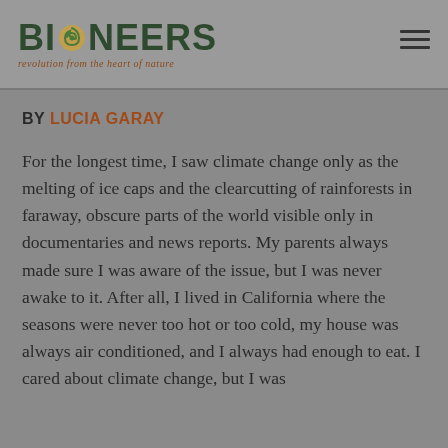BIONEERS — revolution from the heart of nature
BY LUCIA GARAY
For the longest time, I saw climate change only as the melting of ice caps and the clearcutting of rainforests in faraway, obscure parts of the world visible only in documentaries and news reports. My parents always made sure I was aware of the issue, but I was never awake to it. After all, I lived in California where the seasons were never too hot or too cold, my house was always air conditioned, and I always had enough to eat. I cared about climate change, but I was